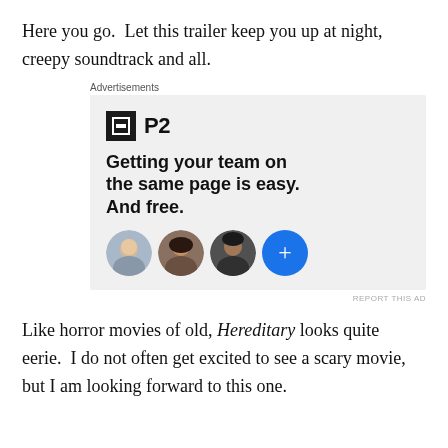Here you go.  Let this trailer keep you up at night, creepy soundtrack and all.
[Figure (other): Advertisement for P2 productivity app showing logo, tagline 'Getting your team on the same page is easy. And free.' with three circular avatar photos and a blue plus circle.]
Like horror movies of old, Hereditary looks quite eerie.  I do not often get excited to see a scary movie, but I am looking forward to this one.